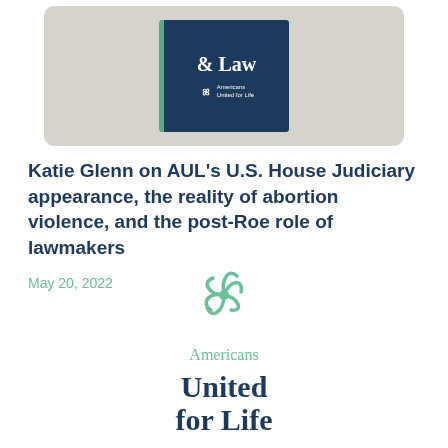[Figure (illustration): Thumbnail card with book cover showing '& Law' title with Americans United for Life branding on dark navy background with green spine accent, set on a light gray rounded card]
Katie Glenn on AUL's U.S. House Judiciary appearance, the reality of abortion violence, and the post-Roe role of lawmakers
May 20, 2022
[Figure (logo): Americans United for Life logo — green flower/pinwheel icon above 'Americans' in green serif text and 'United for Life' in large bold navy serif text]